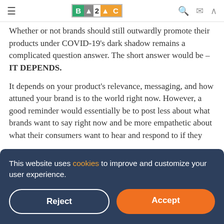≡  B2C  🔍 ✉ ∧
Whether or not brands should still outwardly promote their products under COVID-19's dark shadow remains a complicated question answer. The short answer would be – IT DEPENDS.
It depends on your product's relevance, messaging, and how attuned your brand is to the world right now. However, a good reminder would essentially be to post less about what brands want to say right now and be more empathetic about what their consumers want to hear and respond to if they
This website uses cookies to improve and customize your user experience.
Reject
Accept